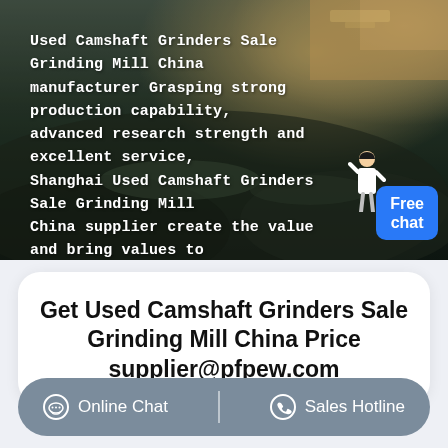[Figure (photo): Aerial/overhead photo of an open-pit mining or quarry site with dark rocky terrain and earthmoving equipment visible. White text overlay describing Used Camshaft Grinders Sale Grinding Mill China manufacturer. A 'Free chat' badge and a figure of a person are overlaid in the lower right.]
Used Camshaft Grinders Sale Grinding Mill China manufacturer Grasping strong production capability, advanced research strength and excellent service, Shanghai Used Camshaft Grinders Sale Grinding Mill China supplier create the value and bring values to all of customers.
Get Used Camshaft Grinders Sale Grinding Mill China Price supplier@pfpew.com
Online Chat   |   Sales Hotline